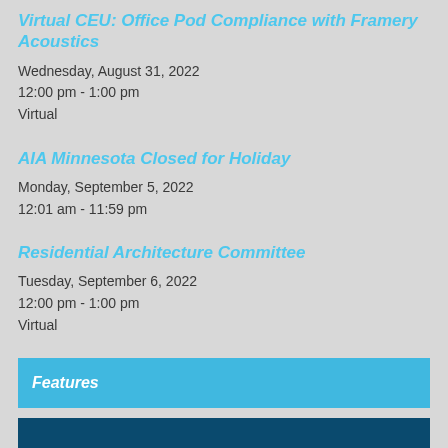Virtual CEU: Office Pod Compliance with Framery Acoustics
Wednesday, August 31, 2022
12:00 pm - 1:00 pm
Virtual
AIA Minnesota Closed for Holiday
Monday, September 5, 2022
12:01 am - 11:59 pm
Residential Architecture Committee
Tuesday, September 6, 2022
12:00 pm - 1:00 pm
Virtual
Features
[Figure (photo): Dark teal/navy image bar at the bottom of the page]